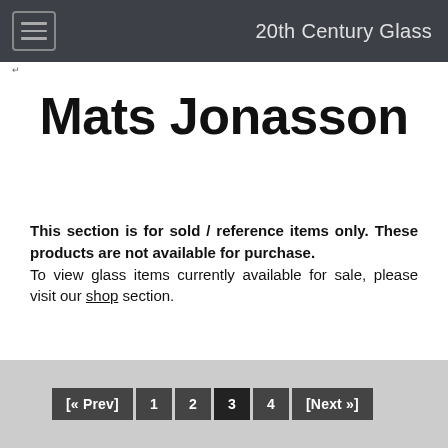20th Century Glass
Mats Jonasson
This section is for sold / reference items only. These products are not available for purchase. To view glass items currently available for sale, please visit our shop section.
[ « Prev ]  1  2  3  4  [Next »]